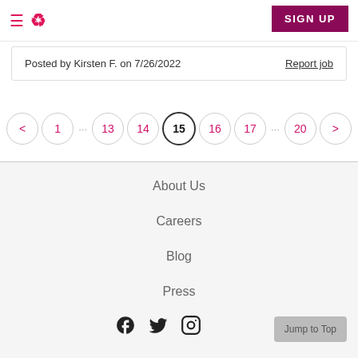≡ ∞   SIGN UP
Posted by Kirsten F. on 7/26/2022   Report job
< 1 … 13 14 15 16 17 … 20 >
About Us
Careers
Blog
Press
[Figure (infographic): Social media icons: Facebook, Twitter, Instagram]
Jump to Top